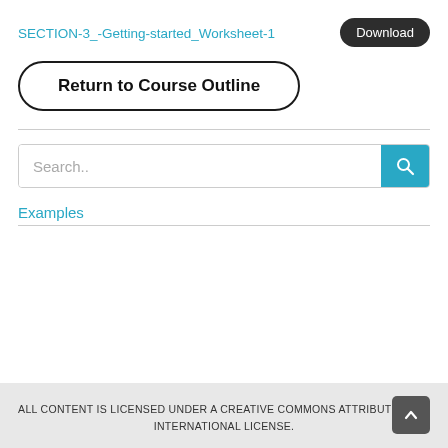SECTION-3_-Getting-started_Worksheet-1
[Figure (screenshot): Download button (dark rounded pill)]
[Figure (screenshot): Return to Course Outline button (rounded rectangle outline)]
[Figure (screenshot): Search box with teal search icon button]
Examples
ALL CONTENT IS LICENSED UNDER A CREATIVE COMMONS ATTRIBUTION 4.0 INTERNATIONAL LICENSE.